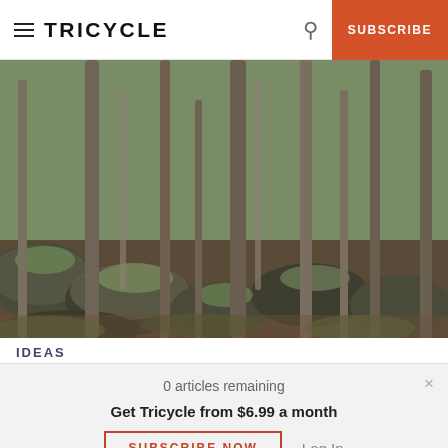TRICYCLE  SUBSCRIBE
[Figure (photo): Forest scene with mossy boulders and bare-trunked trees in early spring, green undergrowth visible]
IDEAS
0 articles remaining
Get Tricycle from $6.99 a month
SUBSCRIBE NOW   Log In